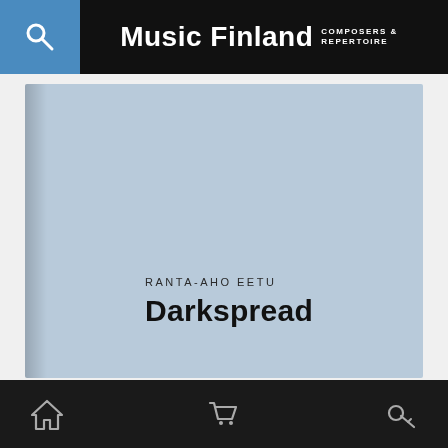Music Finland COMPOSERS & REPERTOIRE
[Figure (illustration): Album cover with light blue/steel blue background showing composer name RANTA-AHO EETU and work title Darkspread in dark text, with subtle spine shadow on left edge.]
RANTA-AHO EETU
Darkspread
Home | Cart | Search navigation icons